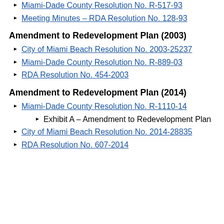Miami-Dade County Resolution No. R-517-93
Meeting Minutes – RDA Resolution No. 128-93
Amendment to Redevelopment Plan (2003)
City of Miami Beach Resolution No. 2003-25237
Miami-Dade County Resolution No. R-889-03
RDA Resolution No. 454-2003
Amendment to Redevelopment Plan (2014)
Miami-Dade County Resolution No. R-1110-14
Exhibit A – Amendment to Redevelopment Plan
City of Miami Beach Resolution No. 2014-28835
RDA Resolution No. 607-2014